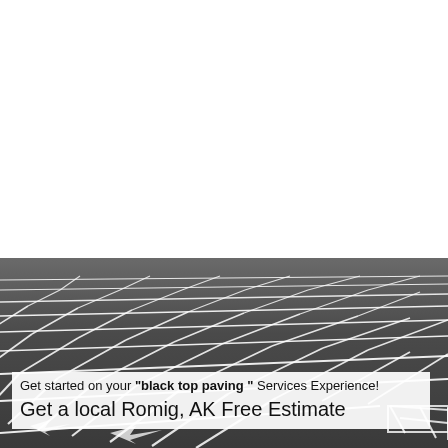[Figure (photo): Aerial/perspective view of a black asphalt parking lot with white painted parking space lines, in grayscale.]
Get started on your "black top paving " Services Experience! Get a local Romig, AK Free Estimate